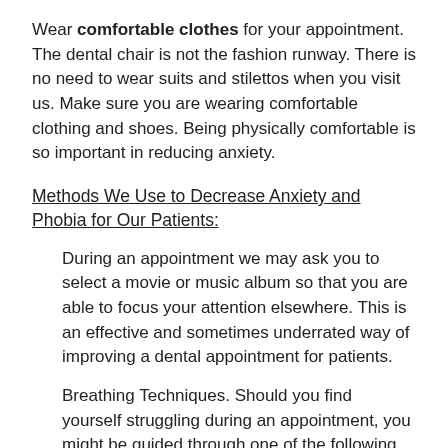Wear comfortable clothes for your appointment. The dental chair is not the fashion runway. There is no need to wear suits and stilettos when you visit us. Make sure you are wearing comfortable clothing and shoes. Being physically comfortable is so important in reducing anxiety.
Methods We Use to Decrease Anxiety and Phobia for Our Patients:
During an appointment we may ask you to select a movie or music album so that you are able to focus your attention elsewhere. This is an effective and sometimes underrated way of improving a dental appointment for patients.
Breathing Techniques. Should you find yourself struggling during an appointment, you might be guided through one of the following by lovely clinical